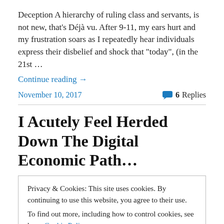Deception A hierarchy of ruling class and servants, is not new, that's Déjà vu. After 9-11, my ears hurt and my frustration soars as I repeatedly hear individuals express their disbelief and shock that "today", (in the 21st …
Continue reading →
November 10, 2017
6 Replies
I Acutely Feel Herded Down The Digital Economic Path…
Privacy & Cookies: This site uses cookies. By continuing to use this website, you agree to their use.
To find out more, including how to control cookies, see here: Cookie Policy
Close and accept
join or contribute to your valuable efforts. I … Continue